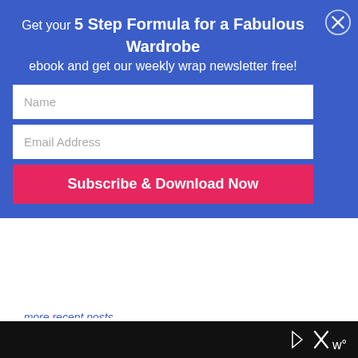Get your 5 Step Formula for a Fabulous Wardrobe ebook and get our weekly wrap newsletter free!
Name
Email Address
Subscribe & Download Now
...more recent posts...
5 Outfit Ideas to Flatter Your V Shape Body
Discover Your Super Style – Free Masterclass
Where Do You Get Your Style Inspiration From?
What Elements of Ethereal Style Would Be Possible in the Workplace?
Finding Your Authentic Style